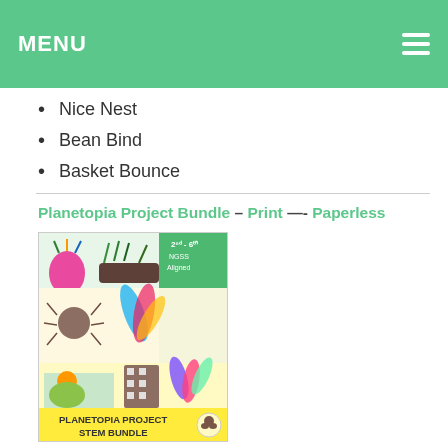MENU
Nice Nest
Bean Bind
Basket Bounce
Planetopia Project Bundle – Print —- Paperless
[Figure (photo): Planetopia Project STEM Bundle product image showing a colorful collage of STEM challenge projects with text 'PLANETOPIA PROJECT STEM BUNDLE' at the bottom. Labeled 2nd-6th grade NGSS Aligned.]
Includes 5 challenges:
Planetopia Parcels
Planetopia Plants